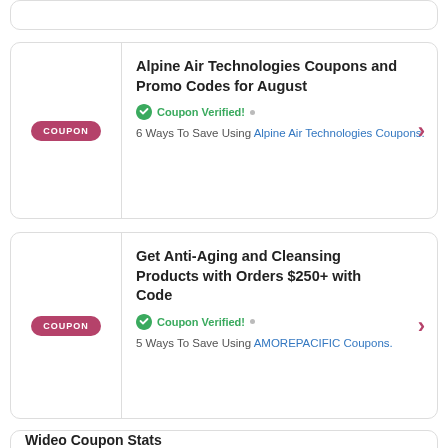Alpine Air Technologies Coupons and Promo Codes for August — Coupon Verified! 6 Ways To Save Using Alpine Air Technologies Coupons.
Get Anti-Aging and Cleansing Products with Orders $250+ with Code — Coupon Verified! 5 Ways To Save Using AMOREPACIFIC Coupons.
Wideo Coupon Stats